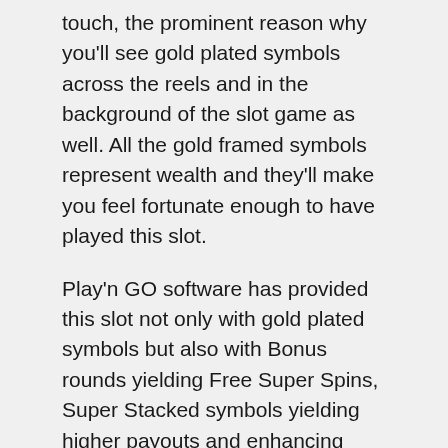touch, the prominent reason why you'll see gold plated symbols across the reels and in the background of the slot game as well. All the gold framed symbols represent wealth and they'll make you feel fortunate enough to have played this slot.
Play'n GO software has provided this slot not only with gold plated symbols but also with Bonus rounds yielding Free Super Spins, Super Stacked symbols yielding higher payouts and enhancing your real money account balance every single time. All that glitters is actually gold stands true for this online slots machine.
Features of Gold King Online Slot
[Figure (illustration): A blue circle icon containing a white bar chart / graph symbol]